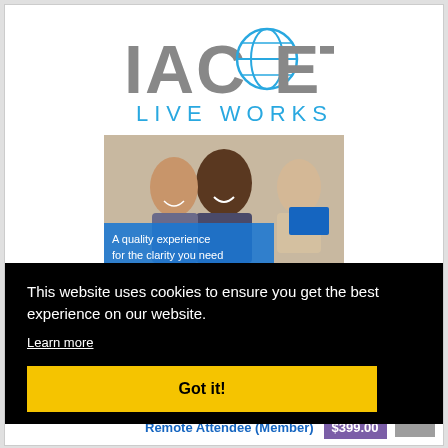[Figure (logo): IACET Live Workshops logo with globe icon in blue and grey text]
[Figure (photo): Group of smiling diverse professionals at a workshop, with blue overlay text reading 'A quality experience for the clarity you need']
This website uses cookies to ensure you get the best experience on our website.
Learn more
Got it!
ss
Remote Attendee (Member)
$399.00